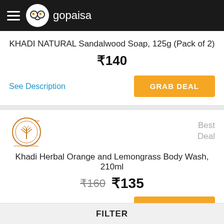gopaisa
KHADI NATURAL Sandalwood Soap, 125g (Pack of 2)
₹140
See Description | GRAB DEAL
[Figure (logo): Khadi Natural brand logo - circular emblem with tree design]
Best Deal
Khadi Herbal Orange and Lemongrass Body Wash, 210ml
₹160  ₹135
See Description | GRAB DEAL
FILTER